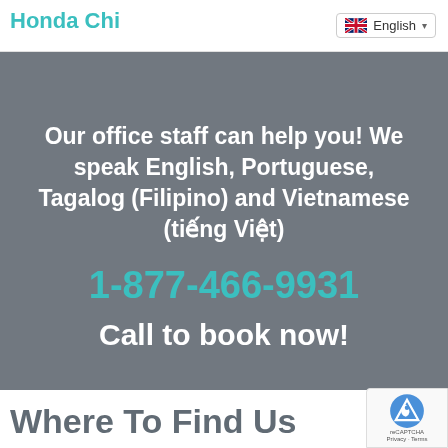Honda Chi... English
Our office staff can help you! We speak English, Portuguese, Tagalog (Filipino) and Vietnamese (tiếng Việt)
1-877-466-9931
Call to book now!
Where To Find Us